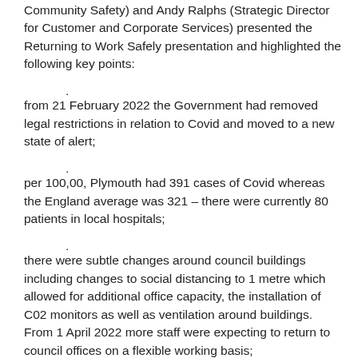Community Safety) and Andy Ralphs (Strategic Director for Customer and Corporate Services) presented the Returning to Work Safely presentation and highlighted the following key points:
from 21 February 2022 the Government had removed legal restrictions in relation to Covid and moved to a new state of alert;
per 100,00, Plymouth had 391 cases of Covid whereas the England average was 321 – there were currently 80 patients in local hospitals;
there were subtle changes around council buildings including changes to social distancing to 1 metre which allowed for additional office capacity, the installation of C02 monitors as well as ventilation around buildings. From 1 April 2022 more staff were expecting to return to council offices on a flexible working basis;